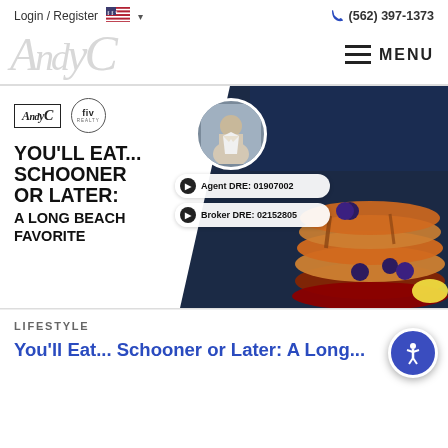Login / Register   (562) 397-1373
[Figure (logo): AndyC realty logo (stylized italic script) and MENU hamburger button]
[Figure (infographic): Banner image: AndyC and fiv realty logos, bold text 'YOU'LL EAT... SCHOONER OR LATER: A LONG BEACH FAVORITE', agent photo circle, Agent DRE: 01907002, Broker DRE: 02152805, pancakes photo background]
LIFESTYLE
You'll Eat... Schooner or Later: A Long...